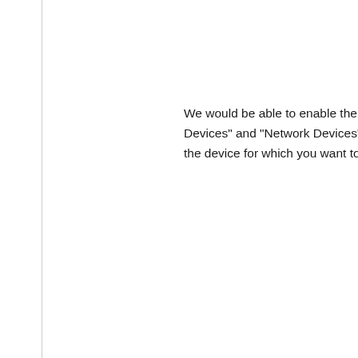We would be able to enable the notifica- Devices" and “Network Devices". Pleas- the device for which you want to enable